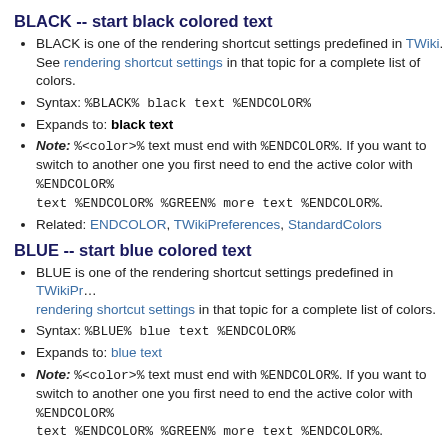BLACK -- start black colored text
BLACK is one of the rendering shortcut settings predefined in TWiki. See rendering shortcut settings in that topic for a complete list of colors.
Syntax: %BLACK% black text %ENDCOLOR%
Expands to: black text
Note: %<color>% text must end with %ENDCOLOR%. If you want to switch to another one you first need to end the active color with %ENDCOLOR%, e.g. write %RED% some text %ENDCOLOR% %GREEN% more text %ENDCOLOR%.
Related: ENDCOLOR, TWikiPreferences, StandardColors
BLUE -- start blue colored text
BLUE is one of the rendering shortcut settings predefined in TWikiPreferences. See rendering shortcut settings in that topic for a complete list of colors.
Syntax: %BLUE% blue text %ENDCOLOR%
Expands to: blue text
Note: %<color>% text must end with %ENDCOLOR%. If you want to switch to another one you first need to end the active color with %ENDCOLOR%, e.g. write %RED% some text %ENDCOLOR% %GREEN% more text %ENDCOLOR%.
Related: ENDCOLOR, TWikiPreferences, StandardColors
BR -- line break